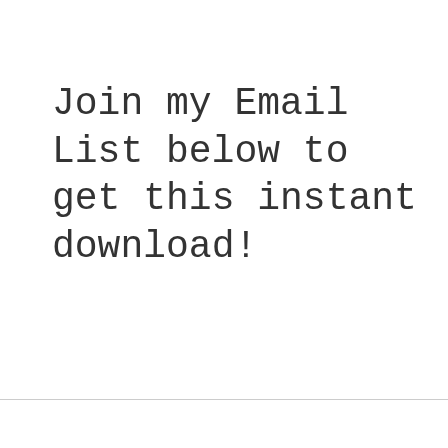Join my Email List below to get this instant download!